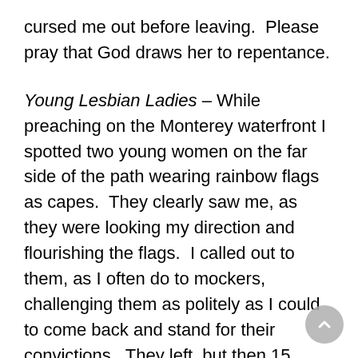cursed me out before leaving.  Please pray that God draws her to repentance.
Young Lesbian Ladies – While preaching on the Monterey waterfront I spotted two young women on the far side of the path wearing rainbow flags as capes.  They clearly saw me, as they were looking my direction and flourishing the flags.  I called out to them, as I often do to mockers, challenging them as politely as I could to come back and stand for their convictions.  They left, but then 15 minutes later they were back.  We have a very intense and animated conversation, which drew quite a crowd.  They did not leave convinced (not surprisingly), but I think I shared the truth clearly, and though they complained of mistreatment by professing Christians, when I asked about my behavior they said I had not mistreated them, which was